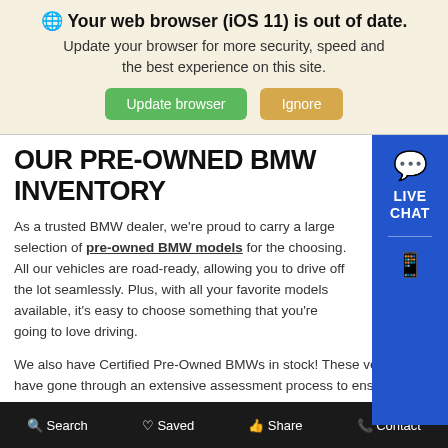🌐 Your web browser (iOS 11) is out of date. Update your browser for more security, speed and the best experience on this site. [Update browser] [Ignore]
OUR PRE-OWNED BMW INVENTORY
As a trusted BMW dealer, we're proud to carry a large selection of pre-owned BMW models for the choosing. All our vehicles are road-ready, allowing you to drive off the lot seamlessly. Plus, with all your favorite models available, it's easy to choose something that you're going to love driving.
We also have Certified Pre-Owned BMWs in stock! These vehicles have gone through an extensive assessment process to ensure they're nearly new. They must have less than 60,000 miles on the odometer and pass a multi-point inspection by certified professionals.
No matter which model you choose, however, you'll be met with a
Search   Saved   Share   Contact